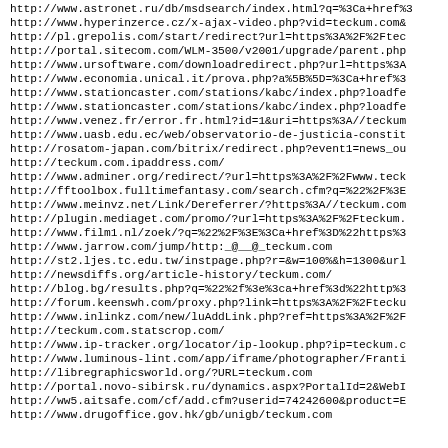http://www.astronet.ru/db/msdsearch/index.html?q=%3Ca+href%3
http://www.hyperinzerce.cz/x-ajax-video.php?vid=teckum.com&
http://pl.grepolis.com/start/redirect?url=https%3A%2F%2Ftec
http://portal.sitecom.com/WLM-3500/v2001/upgrade/parent.php
http://www.ursoftware.com/downloadredirect.php?url=https%3A
http://www.economia.unical.it/prova.php?a%5B%5D=%3Ca+href%3
http://www.stationcaster.com/stations/kabc/index.php?loadfe
http://www.stationcaster.com/stations/kabc/index.php?loadfe
http://www.venez.fr/error.fr.html?id=1&uri=https%3A//teckum
http://www.uasb.edu.ec/web/observatorio-de-justicia-constit
http://rosatom-japan.com/bitrix/redirect.php?event1=news_ou
http://teckum.com.ipaddress.com/
http://www.adminer.org/redirect/?url=https%3A%2F%2Fwww.teck
http://fftoolbox.fulltimefantasy.com/search.cfm?q=%22%2F%3E
http://www.meinvz.net/Link/Dereferrer/?https%3A//teckum.com
http://plugin.mediaget.com/promo/?url=https%3A%2F%2Fteckum.
http://www.film1.nl/zoek/?q=%22%2F%3E%3Ca+href%3D%22https%3
http://www.jarrow.com/jump/http:_@__@_teckum.com
http://st2.ljes.tc.edu.tw/instpage.php?r=&w=100%&h=1300&url
http://newsdiffs.org/article-history/teckum.com/
http://blog.bg/results.php?q=%22%2f%3e%3ca+href%3d%22http%3
http://forum.keenswh.com/proxy.php?link=https%3A%2F%2Ftecku
http://www.inlinkz.com/new/luAddLink.php?ref=https%3A%2F%2F
http://teckum.com.statscrop.com/
http://www.ip-tracker.org/locator/ip-lookup.php?ip=teckum.c
http://www.luminous-lint.com/app/iframe/photographer/Franti
http://libregraphicsworld.org/?URL=teckum.com
http://portal.novo-sibirsk.ru/dynamics.aspx?PortalId=2&WebI
http://ww5.aitsafe.com/cf/add.cfm?userid=74242600&product=E
http://www.drugoffice.gov.hk/gb/unigb/teckum.com